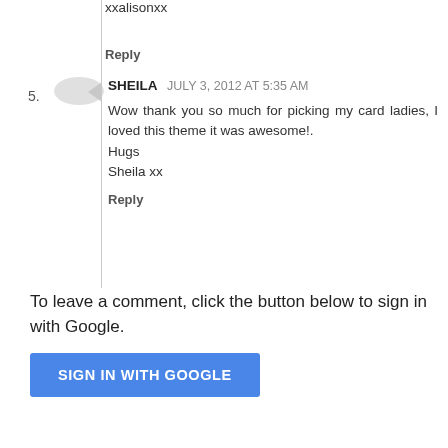xxalisonxx
Reply
5. SHEILA JULY 3, 2012 AT 5:35 AM
Wow thank you so much for picking my card ladies, I loved this theme it was awesome!.
Hugs
Sheila xx
Reply
To leave a comment, click the button below to sign in with Google.
[Figure (other): SIGN IN WITH GOOGLE button (blue rounded rectangle with white text)]